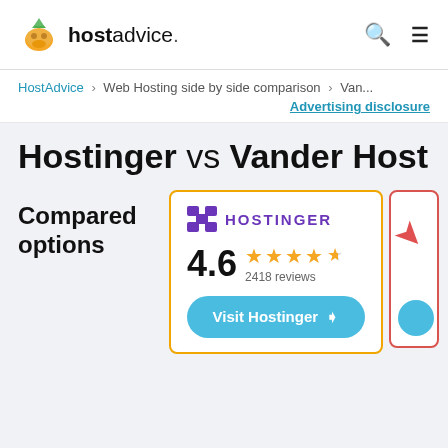hostadvice. [search] [menu]
HostAdvice > Web Hosting side by side comparison > Van...
Advertising disclosure
Hostinger vs Vander Host
Compared options
[Figure (other): Hostinger comparison card with logo, 4.6 star rating from 2418 reviews, and Visit Hostinger button. Partial view of Vander Host card on the right.]